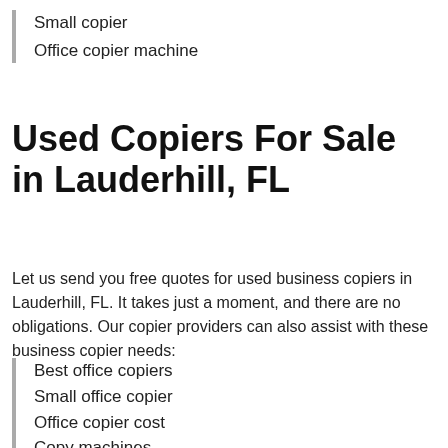Small copier
Office copier machine
Used Copiers For Sale in Lauderhill, FL
Let us send you free quotes for used business copiers in Lauderhill, FL. It takes just a moment, and there are no obligations. Our copier providers can also assist with these business copier needs:
Best office copiers
Small office copier
Office copier cost
Copy machines
Personal copier
Desktop copier